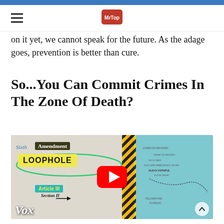on it yet, we cannot speak for the future. As the adage goes, prevention is better than cure.
So...You Can Commit Crimes In The Zone Of Death?
[Figure (screenshot): YouTube video thumbnail from Vox showing a split-screen graphic: left side has 'Sixth Amendment LOOPHOLE' text over a document background with a teal ellipse, 'Article III Section II' labels, and an arrow; right side shows a map (Yellowstone area); middle has hazard/warning stripes and a red vertical bar. A YouTube play button overlay is centered. Vox logo appears bottom-left. A scroll-up arrow button appears bottom-right.]